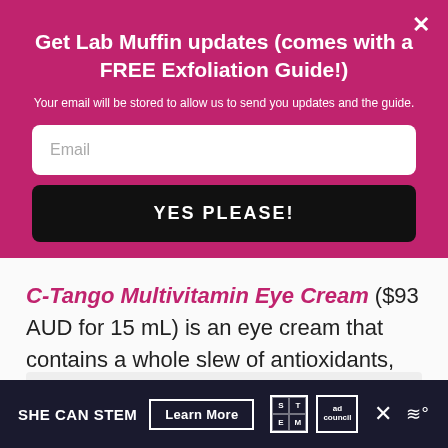Get Lab Muffin updates (comes with a FREE Exfoliation Guide!)
Your email will be stored to allow us to send you updates and the guide.
Email
YES PLEASE!
C-Tango Multivitamin Eye Cream ($93 AUD for 15 mL) is an eye cream that contains a whole slew of antioxidants, peptides and vitamins.
[Figure (other): Light gray placeholder rectangle for an advertisement or image]
SHE CAN STEM  Learn More